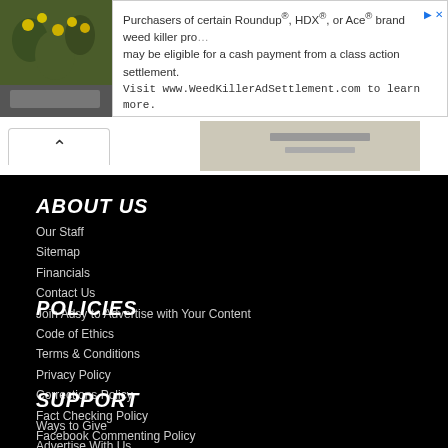[Figure (photo): Advertisement banner: photo of yellow flowers on rocks on the left, text about Roundup/HDX/Ace weed killer class action settlement on the right]
Purchasers of certain Roundup®, HDX®, or Ace® brand weed killer products may be eligible for a cash payment from a class action settlement. Visit www.WeedKillerAdSettlement.com to learn more.
ABOUT US
Our Staff
Sitemap
Financials
Contact Us
Join Adsy to Advertise with Your Content
POLICIES
Code of Ethics
Terms & Conditions
Privacy Policy
Corrections Policy
Fact Checking Policy
Facebook Commenting Policy
SUPPORT
Ways to Give
Advertise With Us